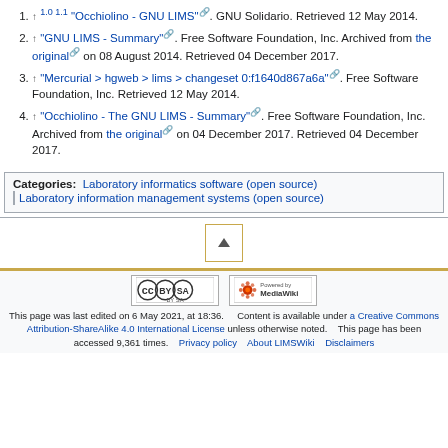1. ↑ 1.0 1.1 "Occhiolino - GNU LIMS". GNU Solidario. Retrieved 12 May 2014.
2. ↑ "GNU LIMS - Summary". Free Software Foundation, Inc. Archived from the original on 08 August 2014. Retrieved 04 December 2017.
3. ↑ "Mercurial > hgweb > lims > changeset 0:f1640d867a6a". Free Software Foundation, Inc. Retrieved 12 May 2014.
4. ↑ "Occhiolino - The GNU LIMS - Summary". Free Software Foundation, Inc. Archived from the original on 04 December 2017. Retrieved 04 December 2017.
Categories: Laboratory informatics software (open source) | Laboratory information management systems (open source)
[Figure (other): Scroll to top button with upward triangle arrow, bordered in gold/yellow]
[Figure (logo): Creative Commons BY-SA license badge and Powered by MediaWiki badge]
This page was last edited on 6 May 2021, at 18:36. Content is available under a Creative Commons Attribution-ShareAlike 4.0 International License unless otherwise noted. This page has been accessed 9,361 times. Privacy policy About LIMSWiki Disclaimers